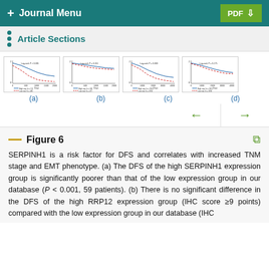Journal Menu  PDF
Article Sections
[Figure (continuous-plot): Four Kaplan-Meier DFS survival curve thumbnails labeled (a), (b), (c), (d)]
(a)
(b)
(c)
(d)
Figure 6
SERPINH1 is a risk factor for DFS and correlates with increased TNM stage and EMT phenotype. (a) The DFS of the high SERPINH1 expression group is significantly poorer than that of the low expression group in our database (P < 0.001, 59 patients). (b) There is no significant difference in the DFS of the high RRP12 expression group (IHC score ≥9 points) compared with the low expression group in our database (IHC score < 9 points) (P = 0.311, 41 patients). (c) The DFS of the